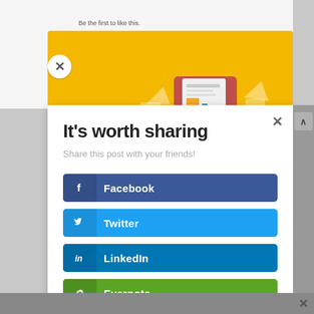[Figure (screenshot): Social media sharing popup modal with buttons for Facebook, Twitter, LinkedIn, and Evernote. Yellow banner at top with illustration of a document/newspaper. White modal card with title and share buttons.]
It's worth sharing
Share this post with your friends!
Facebook
Twitter
LinkedIn
Evernote